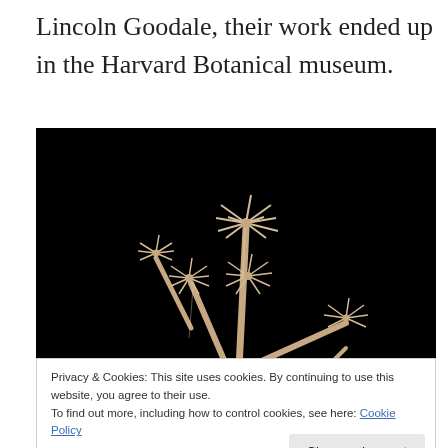Lincoln Goodale, their work ended up in the Harvard Botanical museum.
[Figure (photo): Glass botanical model photograph against black background showing delicate plant specimens with flower-like tops on slender stems, displayed against a pure black background. The models appear to be glass Blaschka flower models showing dandelion-like or umbel plants.]
Privacy & Cookies: This site uses cookies. By continuing to use this website, you agree to their use.
To find out more, including how to control cookies, see here: Cookie Policy
Close and accept